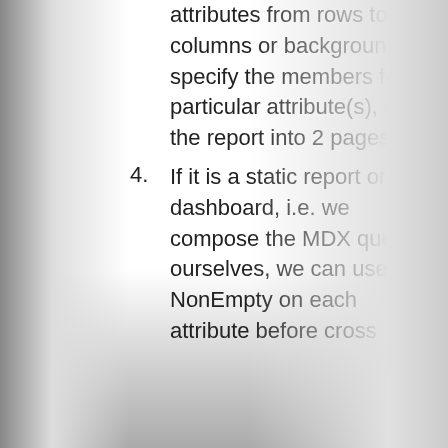attributes from rows to columns or background, specify the members for particular attribute(s), split the report into 2 pages.
4. If it is a static report or dashboard, i.e. we compose the MDX query ourselves, we can use NonEmpty on each attribute before cross